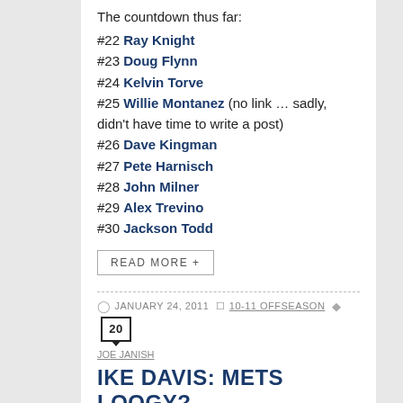The countdown thus far:
#22 Ray Knight
#23 Doug Flynn
#24 Kelvin Torve
#25 Willie Montanez (no link … sadly, didn't have time to write a post)
#26 Dave Kingman
#27 Pete Harnisch
#28 John Milner
#29 Alex Trevino
#30 Jackson Todd
READ MORE +
JANUARY 24, 2011  10-11 Offseason  20  Joe Janish
IKE DAVIS: METS LOOGY?
With Pedro Feliciano moving on to pitch for the Yankees, the Mets have brought in a so-so selection of lefties to audition for his LOOGY spot: Michael O'Connor, Taylor Tankersley, and Tim Byrdak. You might even throw Chris Capuano, Oliver Perez, and Pat Misch into the conversation, as well as minor leaguers